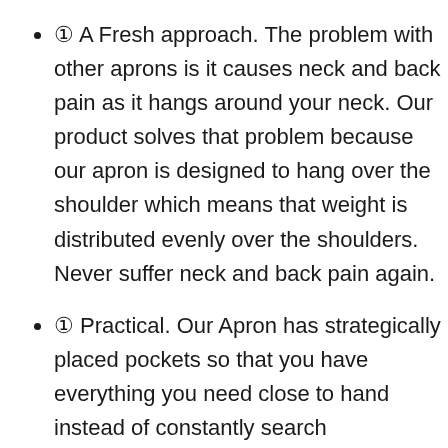✦ A Fresh approach. The problem with other aprons is it causes neck and back pain as it hangs around your neck. Our product solves that problem because our apron is designed to hang over the shoulder which means that weight is distributed evenly over the shoulders. Never suffer neck and back pain again.
✦ Practical. Our Apron has strategically placed pockets so that you have everything you need close to hand instead of constantly search